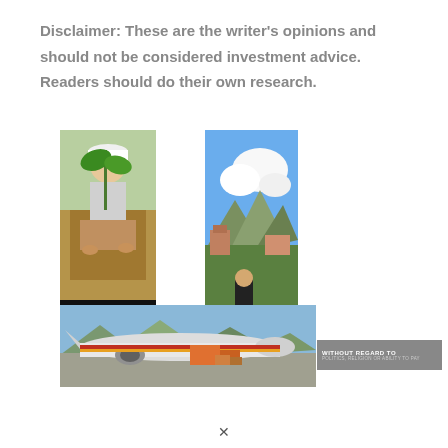Disclaimer: These are the writer's opinions and should not be considered investment advice. Readers should do their own research.
[Figure (photo): Collage of three photos: a person in a white hard hat planting a seedling, a mountain landscape with clouds and a person in black, and an airplane being loaded with cargo. Overlaid text banners read 'We believe' and 'WITHOUT REGARD TO POLITICS, RELIGION OR ABILITY TO PAY'.]